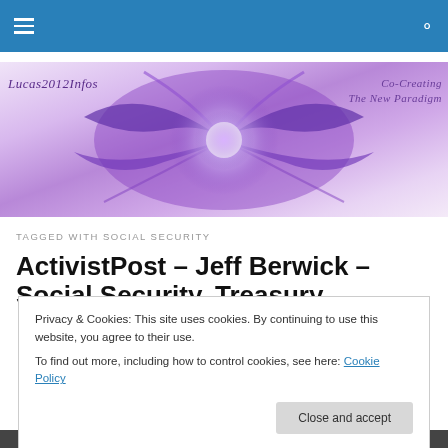Navigation bar with hamburger menu and search icon
[Figure (illustration): Lucas2012Infos website banner with purple fractal/abstract art and text 'Lucas2012Infos' on left and 'Co-Creating The New Paradigm' on right]
TAGGED WITH SOCIAL SECURITY
ActivistPost – Jeff Berwick – Social Security Treasury
Privacy & Cookies: This site uses cookies. By continuing to use this website, you agree to their use.
To find out more, including how to control cookies, see here: Cookie Policy
Close and accept